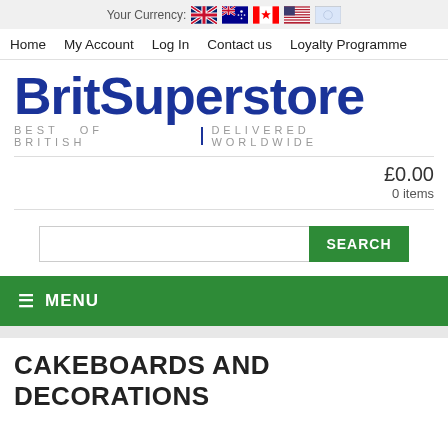Your Currency: [UK flag] [AU flag] [CA flag] [US flag] [EU flag]
Home  My Account  Log In  Contact us  Loyalty Programme
[Figure (logo): BritSuperstore logo with text 'BEST OF BRITISH | DELIVERED WORLDWIDE']
£0.00
0 items
SEARCH
☰ MENU
CAKEBOARDS AND DECORATIONS